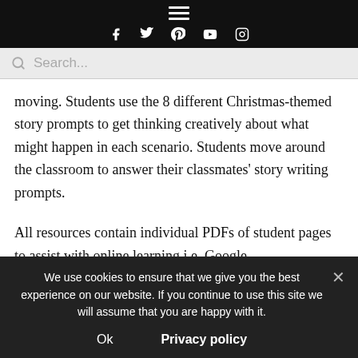Navigation bar with hamburger menu and social icons (Facebook, Twitter, Pinterest, YouTube, Instagram)
Search...
moving. Students use the 8 different Christmas-themed story prompts to get thinking creatively about what might happen in each scenario. Students move around the classroom to answer their classmates' story writing prompts.
All resources contain individual PDFs of student pages to assist with online learning i.e. Google
We use cookies to ensure that we give you the best experience on our website. If you continue to use this site we will assume that you are happy with it.
Ok   Privacy policy